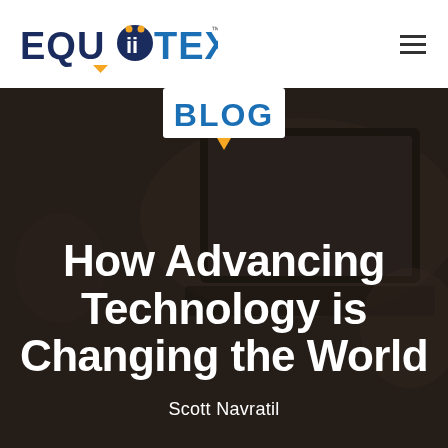[Figure (logo): EquiiText logo in dark navy/blue with orange dots over the 'ii']
≡ (hamburger menu icon)
[Figure (photo): Dark background hero image showing a laptop on a desk, overlaid with 'BLOG' badge and article title text. Blog badge is white rectangle with blue bold text 'BLOG' and an orange speech-bubble triangle below. A laptop screen visible in background, dark brownish overlay.]
How Advancing Technology is Changing the World
Scott Navratil